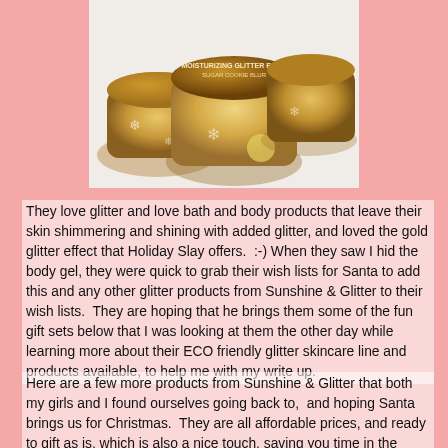[Figure (photo): Photo of gold glitter body product jars with snowflake decorations and golden lids, on a white background]
They love glitter and love bath and body products that leave their skin shimmering and shining with added glitter, and loved the gold glitter effect that Holiday Slay offers.  :-) When they saw I hid the body gel, they were quick to grab their wish lists for Santa to add this and any other glitter products from Sunshine & Glitter to their wish lists.  They are hoping that he brings them some of the fun gift sets below that I was looking at them the other day while learning more about their ECO friendly glitter skincare line and products available, to help me with my write up.
Here are a few more products from Sunshine & Glitter that both my girls and I found ourselves going back to,  and hoping Santa brings us for Christmas.  They are all affordable prices, and ready to gift as is, which is also a nice touch, saving you time in the wrapping dept.  :-)